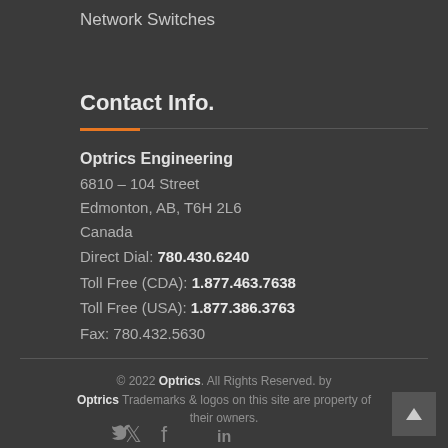Network Switches
Contact Info.
Optrics Engineering
6810 – 104 Street
Edmonton, AB, T6H 2L6
Canada
Direct Dial: 780.430.6240
Toll Free (CDA): 1.877.463.7638
Toll Free (USA): 1.877.386.3763
Fax: 780.432.5630
© 2022 Optrics. All Rights Reserved. by Optrics Trademarks & logos on this site are property of their owners.